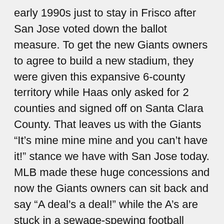early 1990s just to stay in Frisco after San Jose voted down the ballot measure. To get the new Giants owners to agree to build a new stadium, they were given this expansive 6-county territory while Haas only asked for 2 counties and signed off on Santa Clara County. That leaves us with the Giants
“It’s mine mine mine and you can’t have it!” stance we have with San Jose today. MLB made these huge concessions and now the Giants owners can sit back and say “A deal’s a deal!” while the A’s are stuck in a sewage-spewing football stadium in an inferior territory. And with San Joseans – even at least one city council member,